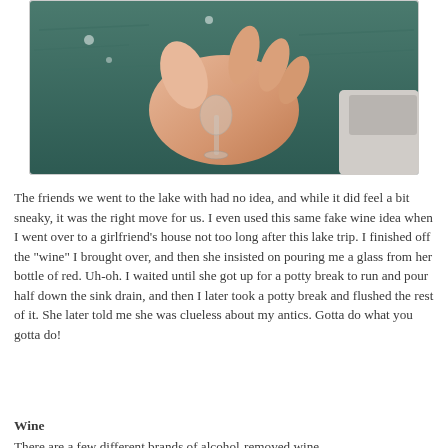[Figure (photo): A hand holding a small stemmed shot glass near a body of water with a boat seat visible in the background.]
The friends we went to the lake with had no idea, and while it did feel a bit sneaky, it was the right move for us. I even used this same fake wine idea when I went over to a girlfriend's house not too long after this lake trip. I finished off the "wine" I brought over, and then she insisted on pouring me a glass from her bottle of red. Uh-oh. I waited until she got up for a potty break to run and pour half down the sink drain, and then I later took a potty break and flushed the rest of it. She later told me she was clueless about my antics. Gotta do what you gotta do!
Wine
There are a few different brands of alcohol-removed wine